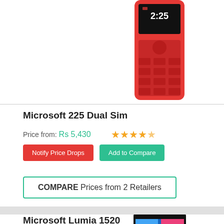[Figure (photo): Nokia/Microsoft 225 Dual Sim red phone image cropped at top]
Microsoft 225 Dual Sim
Price from: Rs 5,430  ★★★★☆
Notify Price Drops   Add to Compare
COMPARE Prices from 2 Retailers
[Figure (photo): Microsoft Lumia 1520 smartphone image showing Windows Phone tiles]
Microsoft Lumia 1520